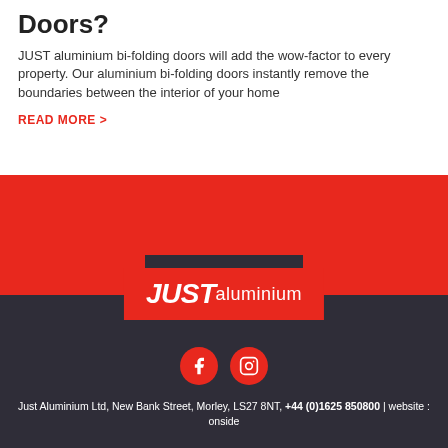Doors?
JUST aluminium bi-folding doors will add the wow-factor to every property. Our aluminium bi-folding doors instantly remove the boundaries between the interior of your home
READ MORE >
[Figure (logo): JUST aluminium logo in white text on red background]
[Figure (illustration): Facebook and Instagram social media icons as red circles with white symbols]
Just Aluminium Ltd, New Bank Street, Morley, LS27 8NT, +44 (0)1625 850800 | website : onside